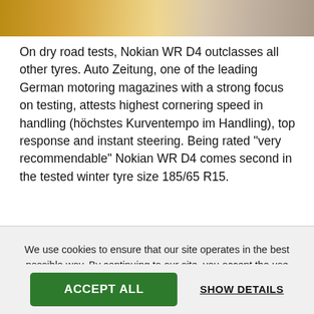[Figure (photo): Partial photo visible at top of page, showing warm golden/beige tones, appears to be an automotive or nature scene]
On dry road tests, Nokian WR D4 outclasses all other tyres. Auto Zeitung, one of the leading German motoring magazines with a strong focus on testing, attests highest cornering speed in handling (höchstes Kurventempo im Handling), top response and instant steering. Being rated "very recommendable" Nokian WR D4 comes second in the tested winter tyre size 185/65 R15.
We use cookies to ensure that our site operates in the best possible way. By continuing to our site, you accept the use of cookies. Nokian Tyres Cookie Policy
ACCEPT ALL
SHOW DETAILS